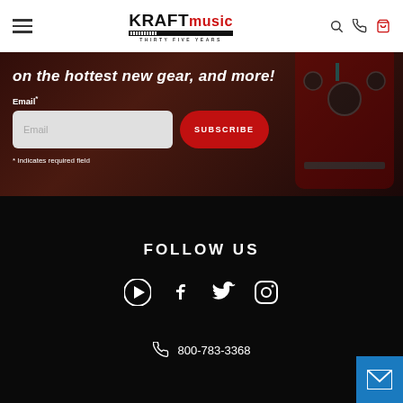Kraft Music — Thirty Five Years
on the hottest new gear, and more!
Email*
Email
SUBSCRIBE
* Indicates required field
FOLLOW US
[Figure (infographic): Social media icons: YouTube, Facebook, Twitter, Instagram]
800-783-3368
[Figure (infographic): Mail/email contact widget button in blue]